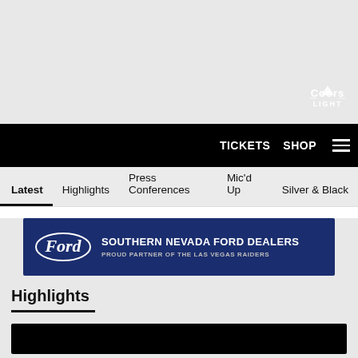[Figure (logo): Coors Light logo in top-right of gray ad area]
TICKETS  SHOP  ☰
Latest  Highlights  Press Conferences  Mic'd Up  Silver & Black
[Figure (logo): Southern Nevada Ford Dealers – Proud Partner of the Las Vegas Raiders banner ad]
Highlights